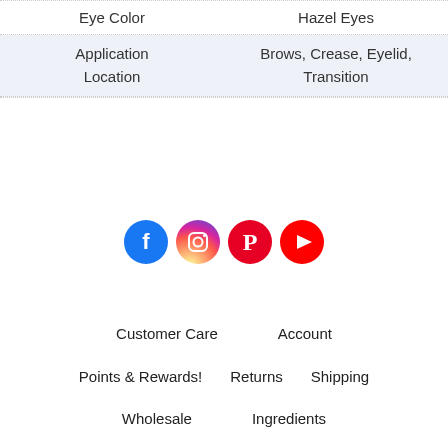| Eye Color | Hazel Eyes |
| --- | --- |
| Application Location | Brows, Crease, Eyelid, Transition |
[Figure (infographic): Four social media icon circles: Facebook (blue), Instagram (pink/magenta gradient), Pinterest (red), YouTube (red)]
Customer Care    Account
Points & Rewards!    Returns    Shipping
Wholesale    Ingredients